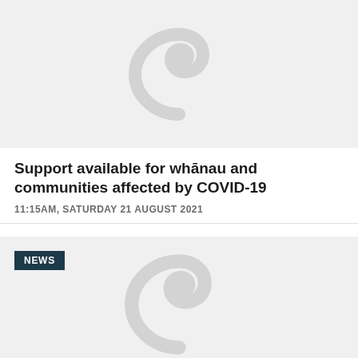[Figure (illustration): Light grey background placeholder image with a grey koru (Māori spiral fern) symbol centered on it]
Support available for whānau and communities affected by COVID-19
11:15AM, SATURDAY 21 AUGUST 2021
[Figure (illustration): Light grey background placeholder image with a grey koru (Māori spiral fern) symbol centered on it, with a NEWS badge overlay in top left]